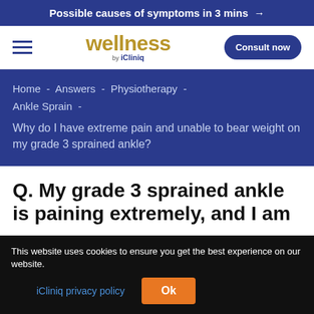Possible causes of symptoms in 3 mins →
[Figure (logo): Wellness by iCliniq logo with hamburger menu and Consult now button]
Home - Answers - Physiotherapy - Ankle Sprain -
Why do I have extreme pain and unable to bear weight on my grade 3 sprained ankle?
Q. My grade 3 sprained ankle is paining extremely, and I am
This website uses cookies to ensure you get the best experience on our website.
iCliniq privacy policy    Ok